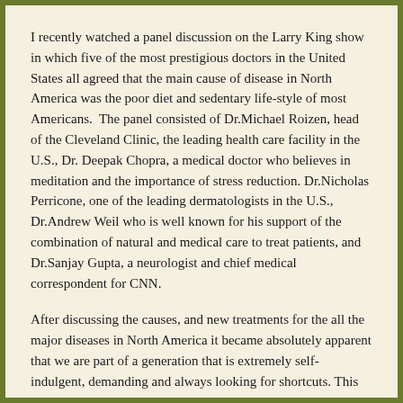I recently watched a panel discussion on the Larry King show in which five of the most prestigious doctors in the United States all agreed that the main cause of disease in North America was the poor diet and sedentary life-style of most Americans.  The panel consisted of Dr.Michael Roizen, head of the Cleveland Clinic, the leading health care facility in the U.S., Dr. Deepak Chopra, a medical doctor who believes in meditation and the importance of stress reduction. Dr.Nicholas Perricone, one of the leading dermatologists in the U.S., Dr.Andrew Weil who is well known for his support of the combination of natural and medical care to treat patients, and Dr.Sanjay Gupta, a neurologist and chief medical correspondent for CNN.
After discussing the causes, and new treatments for the all the major diseases in North America it became absolutely apparent that we are part of a generation that is extremely self-indulgent, demanding and always looking for shortcuts. This means that food choices are not based on common sense but on gluttony. This means that the average person would rather sit in front of their television or computer rather that do a little exercise and people are always looking for shortcuts to health and thus have created the huge pharmaceutical industry.